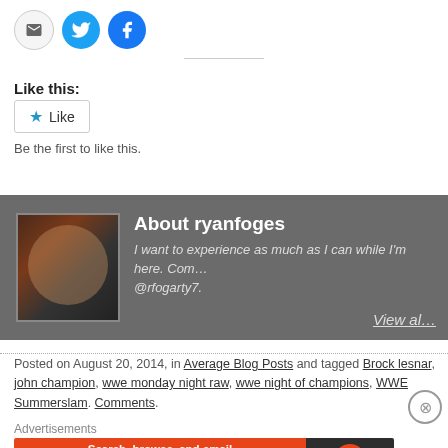[Figure (other): Social share buttons: email (grey circle), Twitter (blue circle with bird icon), Facebook (blue circle with f icon)]
Like this:
Be the first to like this.
[Figure (photo): Author box with wrestling photo thumbnail. About ryanfoges. I want to experience as much as I can while I'm here. Com... @rfogarty7. View al...]
Posted on August 20, 2014, in Average Blog Posts and tagged Brock lesnar, john champion, wwe monday night raw, wwe night of champions, WWE Summerslam. Comments.
Advertisements
[Figure (screenshot): DuckDuckGo advertisement banner: Search, browse, and email with more privacy. All in One Free App. DuckDuckGo logo on dark background.]